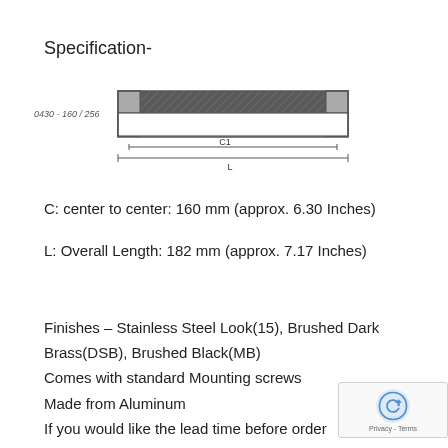Specification-
[Figure (engineering-diagram): Technical drawing of a cabinet handle (model 0430-160/256) showing front view with dark crosshatched grip bar, mounting ends, center-to-center dimension C1, and overall length dimension L.]
C: center to center: 160 mm (approx. 6.30 Inches)
L: Overall Length: 182 mm (approx. 7.17 Inches)
Finishes – Stainless Steel Look(15), Brushed Dark Brass(DSB), Brushed Black(MB)
Comes with standard Mounting screws
Made from Aluminum
If you would like the lead time before ordering, please send us an email to salesdesk@cent...